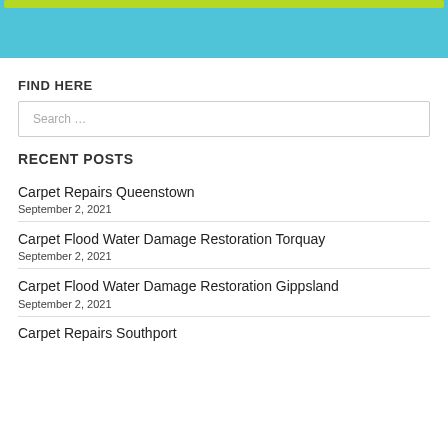[Figure (other): Blue banner with yellow-green bar at top]
FIND HERE
Search …
RECENT POSTS
Carpet Repairs Queenstown
September 2, 2021
Carpet Flood Water Damage Restoration Torquay
September 2, 2021
Carpet Flood Water Damage Restoration Gippsland
September 2, 2021
Carpet Repairs Southport